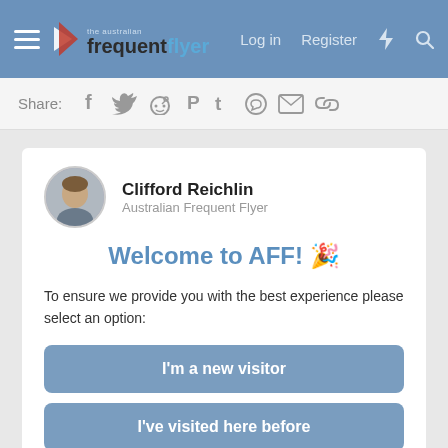Australian Frequent Flyer — Log in   Register
Share:
[Figure (screenshot): User profile card showing Clifford Reichlin, Australian Frequent Flyer, with welcome message and three option buttons: I'm a new visitor, I've visited here before, I'm a registered member]
Welcome to AFF! 🎉
To ensure we provide you with the best experience please select an option:
I'm a new visitor
I've visited here before
I'm a registered member